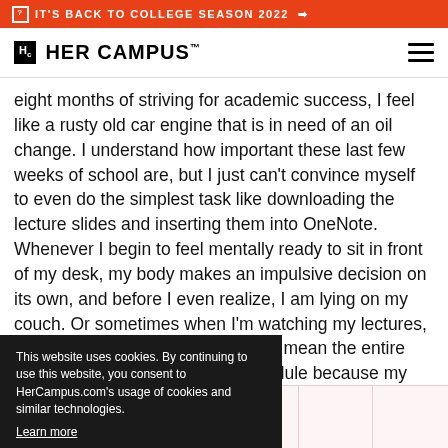IT'S BACK TO COLLEGE SEASON 2022 →
[Figure (logo): Her Campus logo with Hc box and text HER CAMPUS with trademark symbol, plus hamburger menu icon]
eight months of striving for academic success, I feel like a rusty old car engine that is in need of an oil change. I understand how important these last few weeks of school are, but I just can't convince myself to even do the simplest task like downloading the lecture slides and inserting them into OneNote. Whenever I begin to feel mentally ready to sit in front of my desk, my body makes an impulsive decision on its own, and before I even realize, I am lying on my couch. Or sometimes when I'm watching my lectures, it would take me hours (for hours I mean the entire day) to complete a ten-minute module because my ...hese are signs of the end of ...tressed, but you just don't
This website uses cookies. By continuing to use this website, you consent to HerCampus.com's usage of cookies and similar technologies. Learn more  Got it